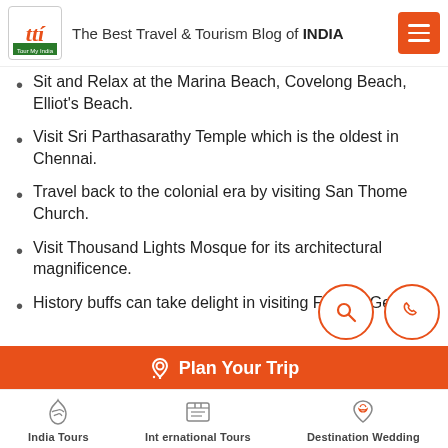The Best Travel & Tourism Blog of INDIA
Sit and Relax at the Marina Beach, Covelong Beach, Elliot's Beach.
Visit Sri Parthasarathy Temple which is the oldest in Chennai.
Travel back to the colonial era by visiting San Thome Church.
Visit Thousand Lights Mosque for its architectural magnificence.
History buffs can take delight in visiting Fort St. George.
Plan Your Trip
India Tours   International Tours   Destination Wedding